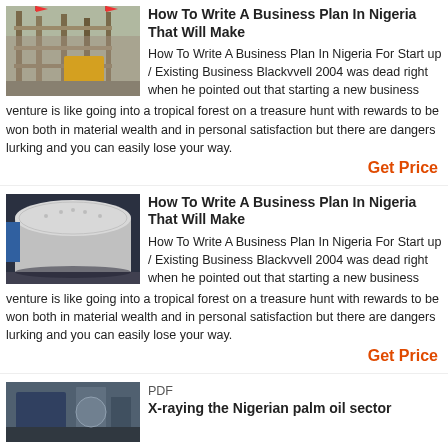[Figure (photo): Industrial construction site with scaffolding and flags]
How To Write A Business Plan In Nigeria That Will Make
How To Write A Business Plan In Nigeria For Start up / Existing Business Blackvvell 2004 was dead right when he pointed out that starting a new business venture is like going into a tropical forest on a treasure hunt with rewards to be won both in material wealth and in personal satisfaction but there are dangers lurking and you can easily lose your way.
Get Price
[Figure (photo): Industrial cylindrical mill equipment in a factory]
How To Write A Business Plan In Nigeria That Will Make
How To Write A Business Plan In Nigeria For Start up / Existing Business Blackvvell 2004 was dead right when he pointed out that starting a new business venture is like going into a tropical forest on a treasure hunt with rewards to be won both in material wealth and in personal satisfaction but there are dangers lurking and you can easily lose your way.
Get Price
[Figure (photo): Industrial machinery in a facility]
PDF
X-raying the Nigerian palm oil sector